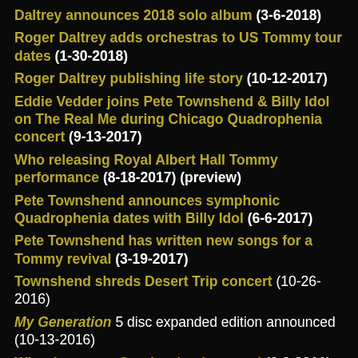Daltrey announces 2018 solo album (3-6-2018)
Roger Daltrey adds orchestras to US Tommy tour dates (1-30-2018)
Roger Daltrey publishing life story (10-12-2017)
Eddie Vedder joins Pete Townshend & Billy Idol on The Real Me during Chicago Quadrophenia concert (9-13-2017)
Who releasing Royal Albert Hall Tommy performance (8-18-2017) (preview)
Pete Townshend announces symphonic Quadrophenia dates with Billy Idol (6-6-2017)
Pete Townshend has written new songs for a Tommy revival (3-19-2017)
Townshend shreds Desert Trip concert (10-26-2016)
My Generation 5 disc expanded edition announced (10-13-2016)
Who denounce Quadrophenia sequel (6-9-2016)